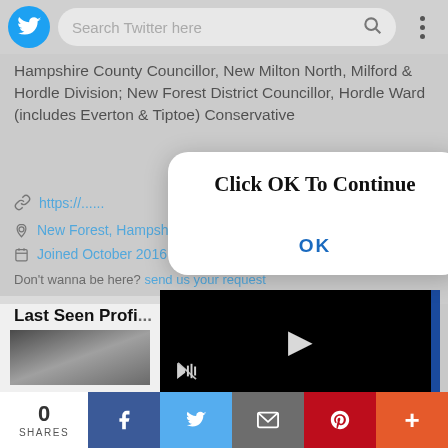[Figure (screenshot): Twitter mobile app top navigation bar with Twitter bird logo, search bar reading 'Search Twitter here', search icon, and three-dot menu button]
Hampshire County Councillor, New Milton North, Milford & Hordle Division; New Forest District Councillor, Hordle Ward (includes Everton & Tiptoe) Conservative
https://... (link partially obscured by dialog)
New Forest, Hampshire (partially obscured)
Joined October 2016 (partially obscured)
Don't wanna be here? (partially obscured)
[Figure (screenshot): White rounded dialog box with text 'Click OK To Continue' in bold serif font and 'OK' button in blue below]
Last Seen Profi...
[Figure (screenshot): Black video player with white play triangle button and mute icon, partially covered by dialog]
[Figure (screenshot): Social share bar at bottom: 0 SHARES, Facebook, Twitter, Email, Pinterest, and Plus buttons]